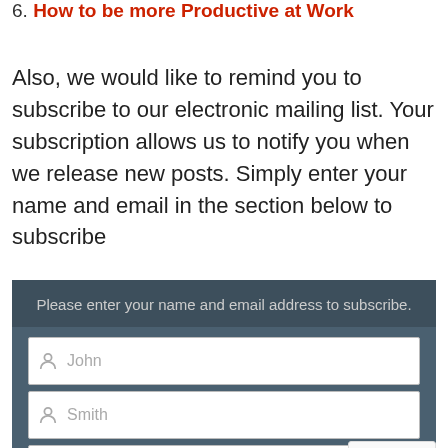6. How to be more Productive at Work
Also, we would like to remind you to subscribe to our electronic mailing list. Your subscription allows us to notify you when we release new posts. Simply enter your name and email in the section below to subscribe
[Figure (screenshot): Email subscription form with header 'Please enter your name and email address to subscribe.' and three input fields: first name (John), last name (Smith), email (johnsmith@example.com). A reCAPTCHA badge is visible in the bottom right corner.]